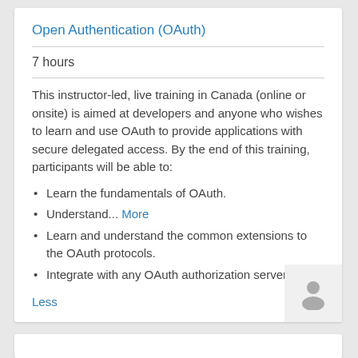Open Authentication (OAuth)
7 hours
This instructor-led, live training in Canada (online or onsite) is aimed at developers and anyone who wishes to learn and use OAuth to provide applications with secure delegated access. By the end of this training, participants will be able to:
Learn the fundamentals of OAuth.
Understand... More
Learn and understand the common extensions to the OAuth protocols.
Integrate with any OAuth authorization server.
Less